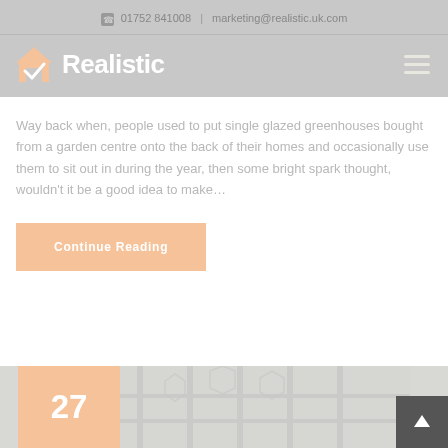01752 841008  |  marketing@realistic.uk.com
[Figure (logo): Realistic logo with house/checkmark icon and bold white text]
Way back when, people used to put single glazed greenhouses bought from a garden centre onto the back of their homes and occasionally use them to sit out in during the year, then some bright spark thought, wouldn't it be a good idea to make…
Continue Reading
[Figure (photo): Partial bottom image showing window frames/glass panels with an orange date badge showing '27' and a scroll-to-top button]